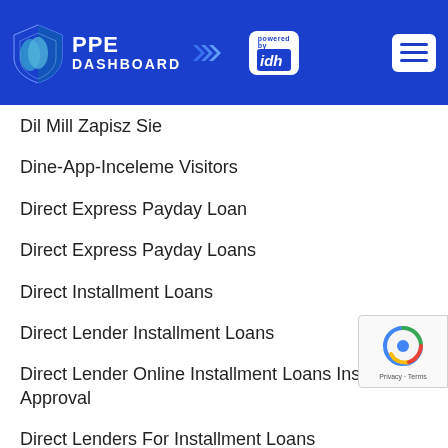[Figure (logo): PPE Dashboard logo with shield icon and 'powered by idh' badge on blue header background, with hamburger menu button on right]
Dil Mill Zapisz Sie
Dine-App-Inceleme Visitors
Direct Express Payday Loan
Direct Express Payday Loans
Direct Installment Loans
Direct Lender Installment Loans
Direct Lender Online Installment Loans Instant Approval
Direct Lenders For Installment Loans
Direct Lenders Installment Loans